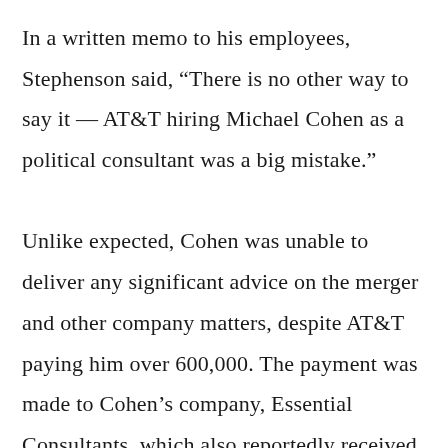In a written memo to his employees, Stephenson said, “There is no other way to say it — AT&T hiring Michael Cohen as a political consultant was a big mistake.”

Unlike expected, Cohen was unable to deliver any significant advice on the merger and other company matters, despite AT&T paying him over 600,000. The payment was made to Cohen’s company, Essential Consultants, which also reportedly received payments from Novartis, a Swiss drug making